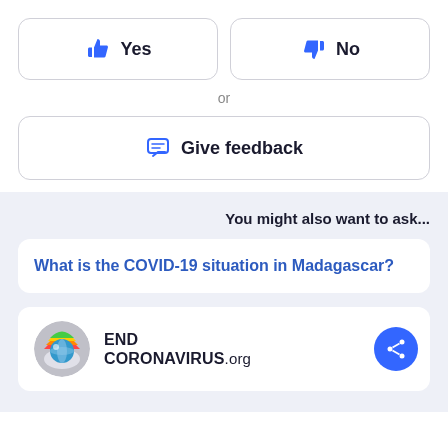[Figure (screenshot): Yes button with thumbs up icon and No button with thumbs down icon, side by side]
or
[Figure (screenshot): Give feedback button with chat bubble icon]
You might also want to ask...
What is the COVID-19 situation in Madagascar?
[Figure (logo): END CORONAVIRUS.org logo with rainbow and globe icon, and a blue share button]